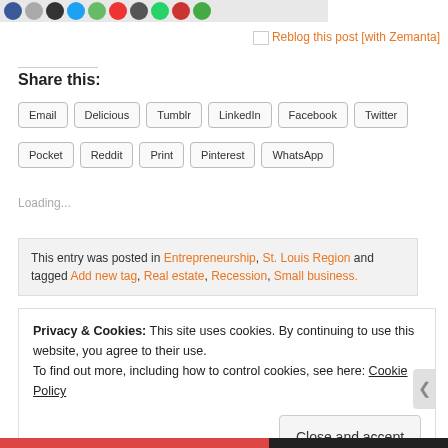[Figure (illustration): Row of social media icon circles at top of page]
Reblog this post [with Zemanta]
Share this:
Email
Delicious
Tumblr
LinkedIn
Facebook
Twitter
Pocket
Reddit
Print
Pinterest
WhatsApp
Loading...
This entry was posted in Entrepreneurship, St. Louis Region and tagged Add new tag, Real estate, Recession, Small business.
Privacy & Cookies: This site uses cookies. By continuing to use this website, you agree to their use.
To find out more, including how to control cookies, see here: Cookie Policy
Close and accept